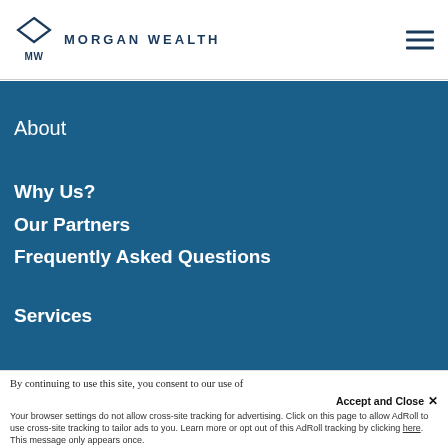[Figure (logo): Morgan Wealth diamond/MW logo in navy blue with text MORGAN WEALTH]
MORGAN WEALTH
About
Why Us?
Our Partners
Frequently Asked Questions
Services
By continuing to use this site, you consent to our use of cookies. Accept and Close ✕ Your browser settings do not allow cross-site tracking for advertising. Click on this page to allow AdRoll to use cross-site tracking to tailor ads to you. Learn more or opt out of this AdRoll tracking by clicking here. This message only appears once.